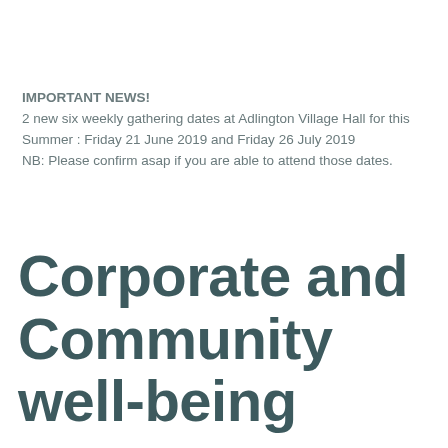IMPORTANT NEWS!
2 new six weekly gathering dates at Adlington Village Hall for this Summer : Friday 21 June 2019 and Friday 26 July 2019
NB: Please confirm asap if you are able to attend those dates.
Corporate and Community well-being